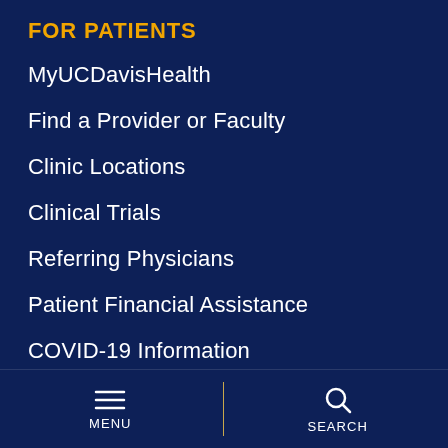FOR PATIENTS
MyUCDavisHealth
Find a Provider or Faculty
Clinic Locations
Clinical Trials
Referring Physicians
Patient Financial Assistance
COVID-19 Information
WE ARE PART OF
UC Davis
University of California
University of California Health
MENU  SEARCH